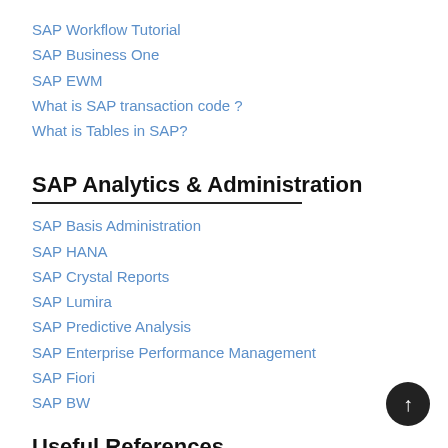SAP Workflow Tutorial
SAP Business One
SAP EWM
What is SAP transaction code ?
What is Tables in SAP?
SAP Analytics & Administration
SAP Basis Administration
SAP HANA
SAP Crystal Reports
SAP Lumira
SAP Predictive Analysis
SAP Enterprise Performance Management
SAP Fiori
SAP BW
Useful References